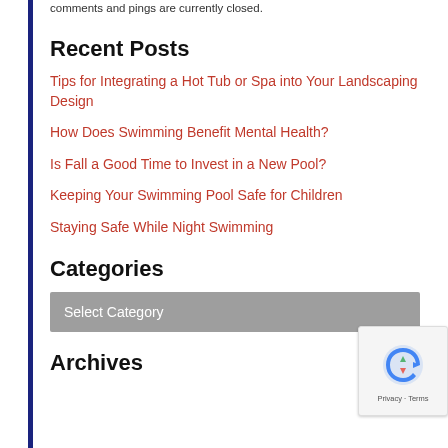comments and pings are currently closed.
Recent Posts
Tips for Integrating a Hot Tub or Spa into Your Landscaping Design
How Does Swimming Benefit Mental Health?
Is Fall a Good Time to Invest in a New Pool?
Keeping Your Swimming Pool Safe for Children
Staying Safe While Night Swimming
Categories
Select Category
Archives